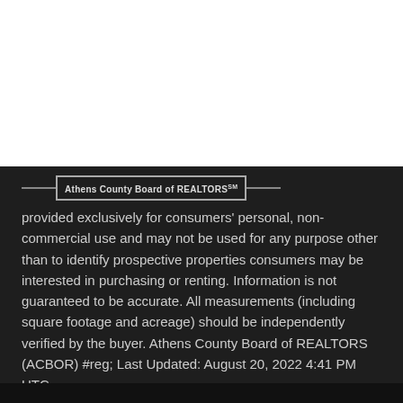[Figure (logo): HER REALTORS logo in red and black with stylized letters H, E, R]
Athens County Board of REALTORS℠
provided exclusively for consumers' personal, non-commercial use and may not be used for any purpose other than to identify prospective properties consumers may be interested in purchasing or renting. Information is not guaranteed to be accurate. All measurements (including square footage and acreage) should be independently verified by the buyer. Athens County Board of REALTORS (ACBOR) #reg; Last Updated: August 20, 2022 4:41 PM UTC